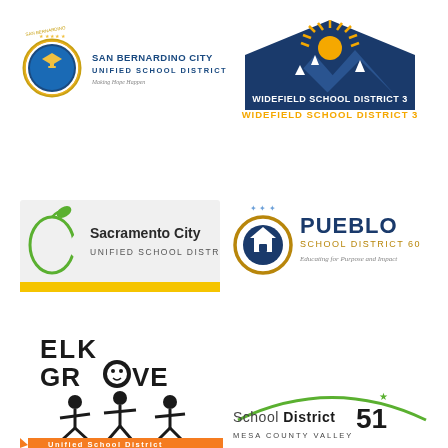[Figure (logo): San Bernardino City Unified School District logo with circular seal and text 'Making Hope Happen']
[Figure (logo): Widefield School District 3 logo with mountain peaks and sun graphic]
[Figure (logo): Sacramento City Unified School District logo with green apple graphic and yellow bar]
[Figure (logo): Pueblo School District 60 logo with house/circle icon and tagline 'Educating for Purpose and Impact']
[Figure (logo): Elk Grove Unified School District logo with stick figure children and orange arrow banner]
[Figure (logo): School District 51 Mesa County Valley logo with tagline 'Engage, Equip, and Empower']